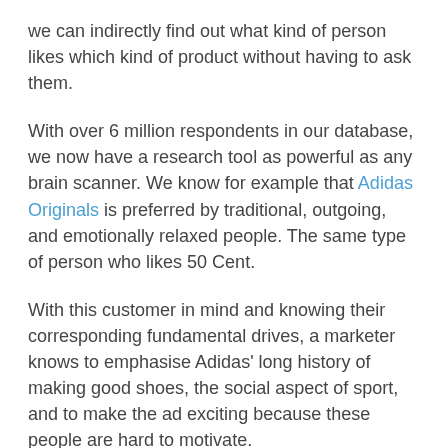we can indirectly find out what kind of person likes which kind of product without having to ask them.
With over 6 million respondents in our database, we now have a research tool as powerful as any brain scanner. We know for example that Adidas Originals is preferred by traditional, outgoing, and emotionally relaxed people. The same type of person who likes 50 Cent.
With this customer in mind and knowing their corresponding fundamental drives, a marketer knows to emphasise Adidas' long history of making good shoes, the social aspect of sport, and to make the ad exciting because these people are hard to motivate.
People who prefer Nike have similar personality traits, albeit at a more extreme level, however there is an